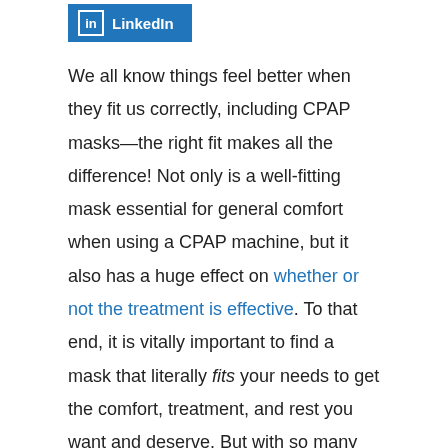[Figure (logo): LinkedIn button/logo with blue background and white text]
We all know things feel better when they fit us correctly, including CPAP masks—the right fit makes all the difference! Not only is a well-fitting mask essential for general comfort when using a CPAP machine, but it also has a huge effect on whether or not the treatment is effective. To that end, it is vitally important to find a mask that literally fits your needs to get the comfort, treatment, and rest you want and deserve. But with so many CPAP masks to choose from, where does one start?